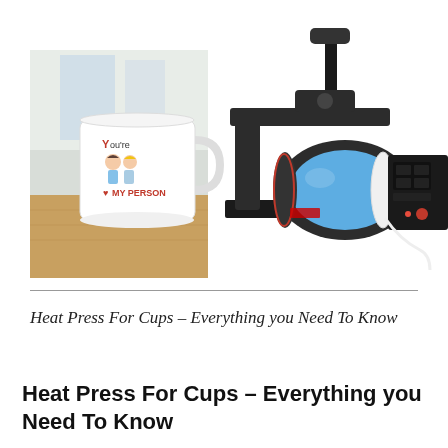[Figure (photo): Two product photos side by side: on the left, a white ceramic mug with a cartoon illustration of two children and text 'You're My Person' sitting on a wooden surface with a blurred kitchen background; on the right, a black mug heat press machine with a blue mug clamped in the cylindrical heating element, with a digital control panel on the right side.]
Heat Press For Cups – Everything you Need To Know
Heat Press For Cups – Everything you Need To Know